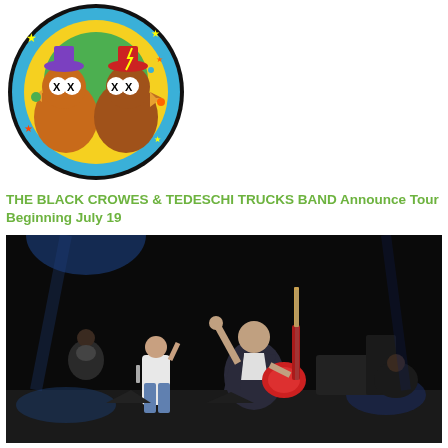[Figure (illustration): Circular cartoon illustration featuring two bird characters with X eyes, one wearing a purple hat, one with a red hat, on a colorful background — Black Crowes & Tedeschi Trucks Band tour artwork]
THE BLACK CROWES & TEDESCHI TRUCKS BAND Announce Tour Beginning July 19
[Figure (photo): Concert performance photo showing a guitarist with a red guitar on stage, arms raised, along with other band members, dark stage lighting with blue spotlights — The Who concert]
THE WHO Announce Support Artist For First Leg Of North